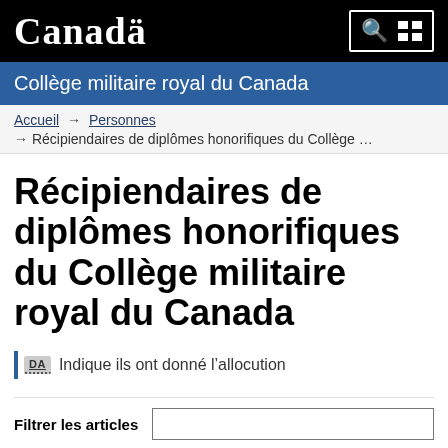Canada
Collège militaire royal du Canada
Accueil → Personnes
→ Récipiendaires de diplômes honorifiques du Collège …
Récipiendaires de diplômes honorifiques du Collège militaire royal du Canada
DA Indique ils ont donné l'allocution
Filtrer les articles